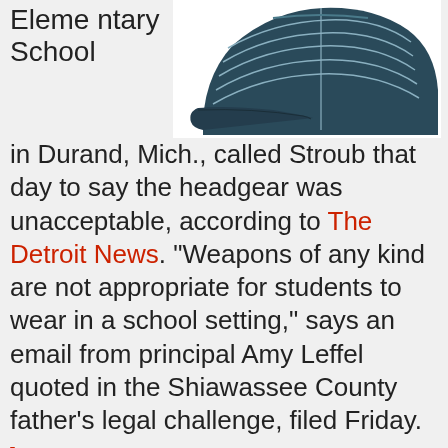Elementary School in Durand, Mich., called Stroub that day to say the headgear was unacceptable, according to The Detroit News. "Weapons of any kind are not appropriate for students to wear in a school setting," says an email from principal Amy Leffel quoted in the Shiawassee County father's legal challenge, filed Friday.
[Figure (photo): A dark blue/navy baseball-style cap with stitched curved lines on the crown, photographed against a white background.]
It alleges the hat portrays support for the right to keep and bear arms in a non-violent, non-threatening manner and contains "pure speech."